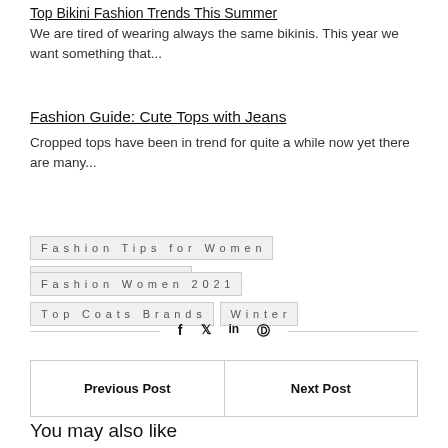Top Bikini Fashion Trends This Summer
We are tired of wearing always the same bikinis. This year we want something that...
Fashion Guide: Cute Tops with Jeans
Cropped tops have been in trend for quite a while now yet there are many...
Fashion Tips for Women
Fashion Trends
Fashion Women 2021
Top Coats Brands
Winter
[Figure (infographic): Social share icons: facebook (f), twitter bird, linkedin (in), pinterest (p)]
| Previous Post | Next Post |
| --- | --- |
You may also like